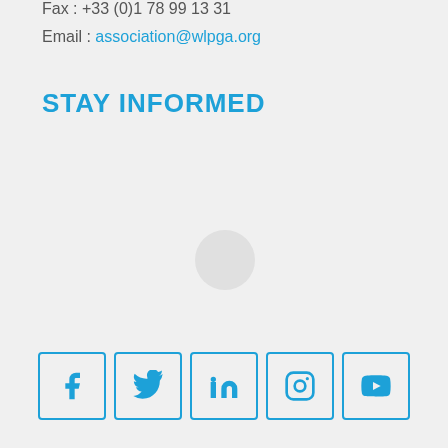Fax : +33 (0)1 78 99 13 31
Email : association@wlpga.org
STAY INFORMED
[Figure (other): Light gray circle placeholder in the center of the page]
[Figure (other): Row of five social media icons in blue outlined boxes: Facebook, Twitter, LinkedIn, Instagram, YouTube]